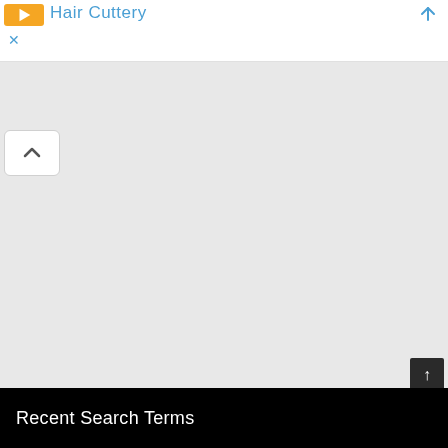Hair Cuttery
[Figure (screenshot): Gray empty content area with a collapse/chevron-up button in the top left corner]
Recent Search Terms